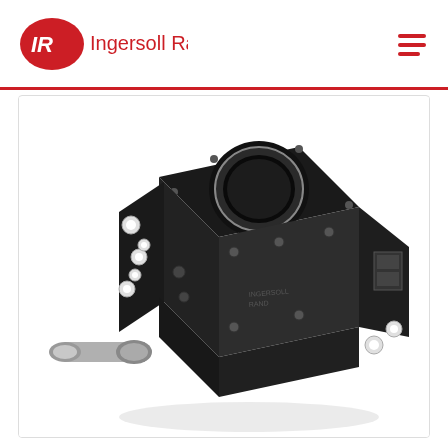Ingersoll Rand
[Figure (photo): Black industrial air compressor / blower unit (Ingersoll Rand product) shown in 3/4 perspective view. The component is a compact black cast-iron compressor airend with a large circular inlet port on top, mounting flanges with bolts, and a silver drive shaft protruding from the lower left. White mounting rings/washers visible on the side flanges. A small label plate is visible on the right side.]